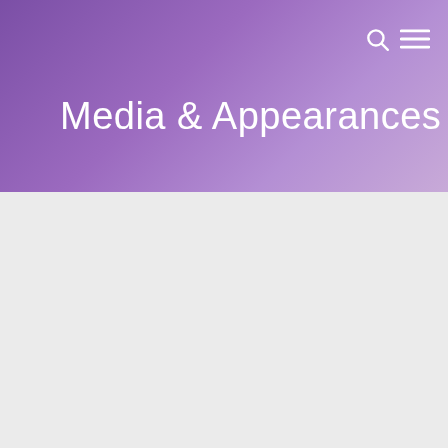[Figure (screenshot): Website header with purple gradient background containing navigation icons (search and hamburger menu) in the top right corner]
Media & Appearances